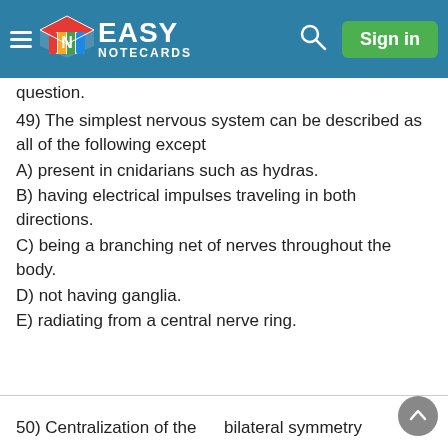Easy Notecards — Sign in
question.
49) The simplest nervous system can be described as all of the following except
A) present in cnidarians such as hydras.
B) having electrical impulses traveling in both directions.
C) being a branching net of nerves throughout the body.
D) not having ganglia.
E) radiating from a central nerve ring.
50) Centralization of the
bilateral symmetry